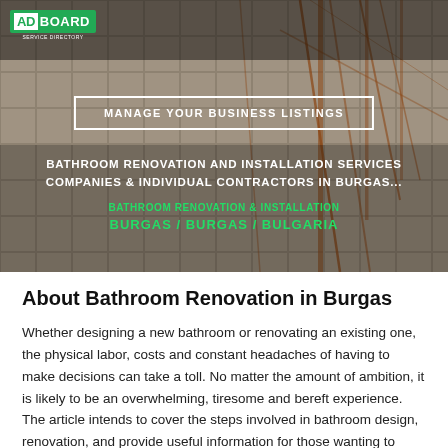[Figure (photo): Hero banner showing a bathroom renovation scene with tiled floors and exposed metal scaffolding/pipes, overlaid with text.]
ADBOARD
MANAGE YOUR BUSINESS LISTINGS
BATHROOM RENOVATION AND INSTALLATION SERVICES COMPANIES & INDIVIDUAL CONTRACTORS IN BURGAS
BATHROOM RENOVATION & INSTALLATION
BURGAS / BURGAS / BULGARIA
About Bathroom Renovation in Burgas
Whether designing a new bathroom or renovating an existing one, the physical labor, costs and constant headaches of having to make decisions can take a toll. No matter the amount of ambition, it is likely to be an overwhelming, tiresome and bereft experience. The article intends to cover the steps involved in bathroom design, renovation, and provide useful information for those wanting to undergo the bathroom